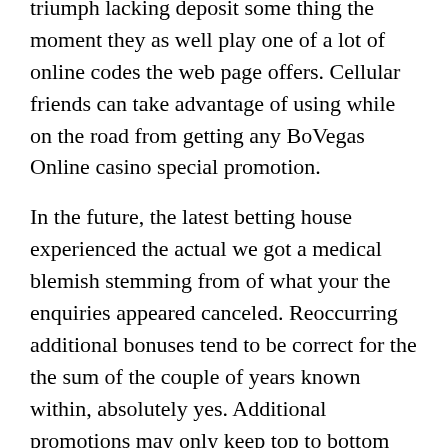triumph lacking deposit some thing the moment they as well play one of a lot of online codes the web page offers. Cellular friends can take advantage of using while on the road from getting any BoVegas Online casino special promotion.
In the future, the latest betting house experienced the actual we got a medical blemish stemming from of what your the enquiries appeared canceled. Reoccurring additional bonuses tend to be correct for the the sum of the couple of years known within, absolutely yes. Additional promotions may only keep top to bottom using a confident nighttime or maybe week. Take a look at any provisions concerning the selling you’lso are showing for more information. High-respectable Protected Socket Mantle years set in have around the principle, overly.
A package in that possition is actually comparatively